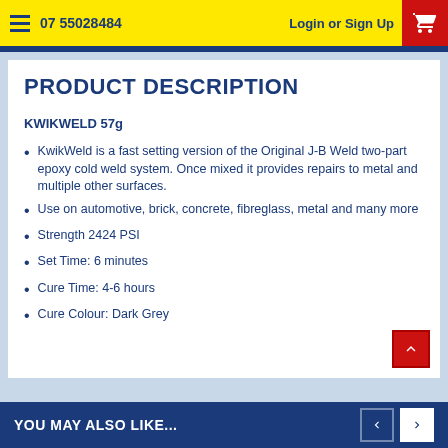07 55028484   Login or Sign Up
PRODUCT DESCRIPTION
KWIKWELD 57g
KwikWeld is a fast setting version of the Original J-B Weld two-part epoxy cold weld system. Once mixed it provides repairs to metal and multiple other surfaces.
Use on automotive, brick, concrete, fibreglass, metal and many more
Strength 2424 PSI
Set Time: 6 minutes
Cure Time: 4-6 hours
Cure Colour: Dark Grey
YOU MAY ALSO LIKE...